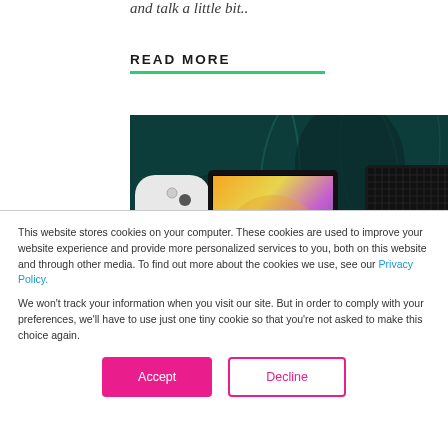and talk a little bit..
READ MORE
[Figure (photo): Gaming consoles photo showing Nintendo Switch OLED with white Joy-Con controller and colorful screen, and Xbox Series X black console, on a dark teal background]
This website stores cookies on your computer. These cookies are used to improve your website experience and provide more personalized services to you, both on this website and through other media. To find out more about the cookies we use, see our Privacy Policy.
We won't track your information when you visit our site. But in order to comply with your preferences, we'll have to use just one tiny cookie so that you're not asked to make this choice again.